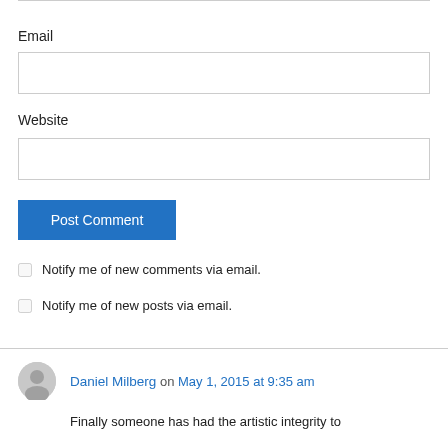Email
[Figure (other): Email text input field]
Website
[Figure (other): Website text input field]
Post Comment
Notify me of new comments via email.
Notify me of new posts via email.
Daniel Milberg on May 1, 2015 at 9:35 am
Finally someone has had the artistic integrity to